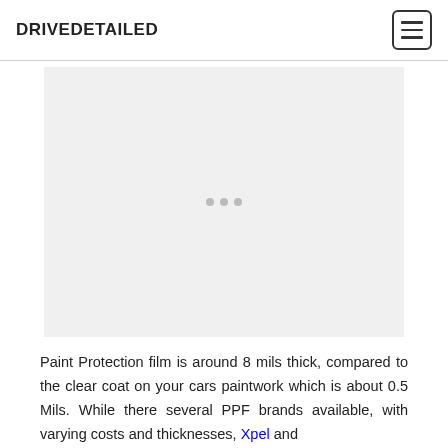DRIVEDETAILED
[Figure (other): Advertisement placeholder area with three grey dots centered in a light grey rectangle]
Paint Protection film is around 8 mils thick, compared to the clear coat on your cars paintwork which is about 0.5 Mils. While there several PPF brands available, with varying costs and thicknesses, Xpel and